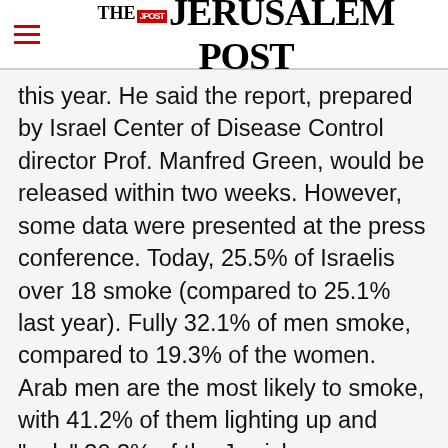THE JERUSALEM POST
this year. He said the report, prepared by Israel Center of Disease Control director Prof. Manfred Green, would be released within two weeks. However, some data were presented at the press conference. Today, 25.5% of Israelis over 18 smoke (compared to 25.1% last year). Fully 32.1% of men smoke, compared to 19.3% of the women. Arab men are the most likely to smoke, with 41.2% of them lighting up and "only" 30.3% of the Jewish men smoking. Arab women are
Advertisement